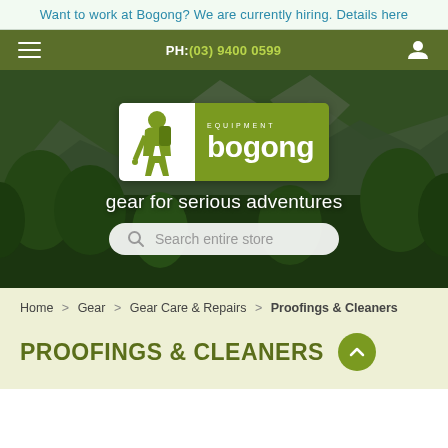Want to work at Bogong? We are currently hiring. Details here
[Figure (screenshot): Navigation bar with hamburger menu, phone number PH: (03) 9400 0599, and user icon on olive green background]
[Figure (photo): Hero section with mountain and forest landscape background, Bogong Equipment logo, tagline 'gear for serious adventures', and search bar]
Home > Gear > Gear Care & Repairs > Proofings & Cleaners
PROOFINGS & CLEANERS